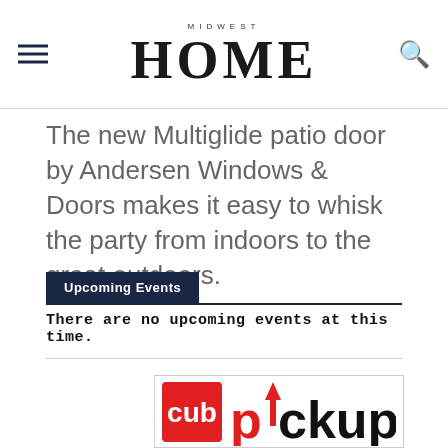MIDWEST HOME
The new Multiglide patio door by Andersen Windows & Doors makes it easy to whisk the party from indoors to the great outdoors.
Upcoming Events
There are no upcoming events at this time.
[Figure (logo): Cub Pickup logo — red square with 'cub' in white text, followed by 'pickup' in red with an upward arrow as the 'i']